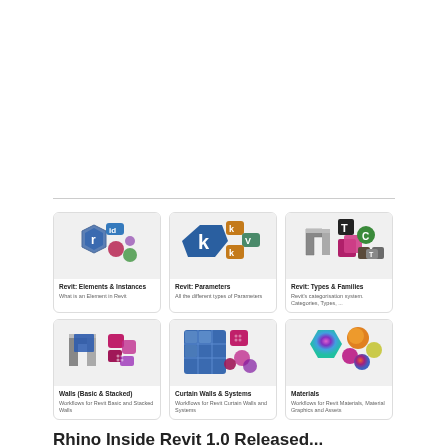[Figure (illustration): Six course card thumbnails in a 3x2 grid: Revit Elements & Instances, Revit Parameters, Revit Types & Families, Walls (Basic & Stacked), Curtain Walls & Systems, Materials]
Rhino Inside Revit 1.0 Released